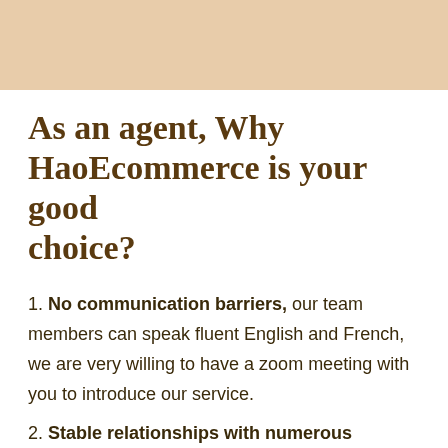[Figure (other): Tan/beige colored decorative header bar]
As an agent, Why HaoEcommerce is your good choice?
1. No communication barriers, our team members can speak fluent English and French, we are very willing to have a zoom meeting with you to introduce our service.
2. Stable relationships with numerous factories, not